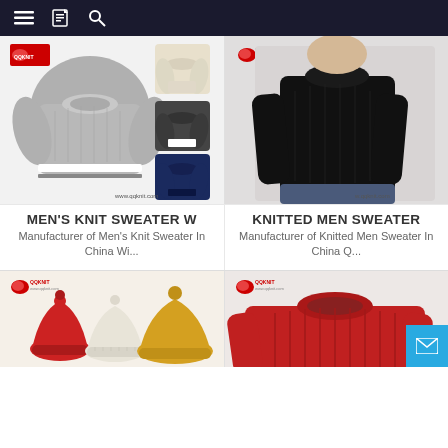[Figure (screenshot): Navigation bar with hamburger menu, catalog icon, and search icon on dark background]
[Figure (photo): Men's knit sweater in grey with white stripe hem, shown with cream, dark grey, and navy color variants, QQKNIT logo, www.qqknit.com watermark]
MEN'S KNIT SWEATER W
Manufacturer of Men's Knit Sweater In China Wi...
[Figure (photo): Man wearing black knitted crew neck sweater, QQKNIT logo, www.qqknit.com watermark]
KNITTED MEN SWEATER
Manufacturer of Knitted Men Sweater In China Q...
[Figure (photo): Knitted winter hats in red, white/cream, and yellow/mustard colors with pom-poms, QQKNIT logo]
[Figure (photo): Red cable knit sweater, QQKNIT logo]